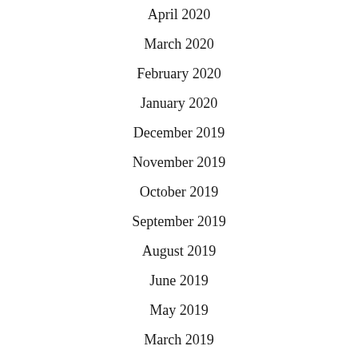April 2020
March 2020
February 2020
January 2020
December 2019
November 2019
October 2019
September 2019
August 2019
June 2019
May 2019
March 2019
June 2018
April 2018